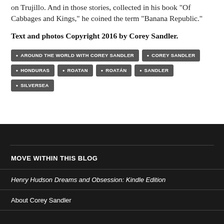on Trujillo. And in those stories, collected in his book "Of Cabbages and Kings," he coined the term "Banana Republic."
Text and photos Copyright 2016 by Corey Sandler.
AROUND THE WORLD WITH COREY SANDLER
COREY SANDLER
HONDURAS
ROATAN
ROATÁN
SANDLER
SILVERSEA
MOVE WITHIN THIS BLOG
Henry Hudson Dreams and Obsession: Kindle Edition
About Corey Sandler